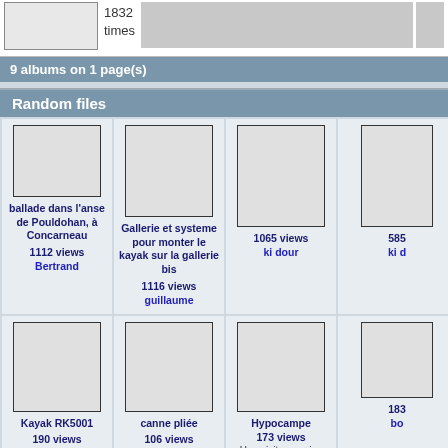1832 times
9 albums on 1 page(s)
Random files
[Figure (photo): Thumbnail image placeholder]
ballade dans l'anse de Pouldohan, à Concarneau
1112 views
Bertrand
[Figure (photo): Thumbnail image placeholder]
Gallerie et systeme pour monter le kayak sur la gallerie bis
1116 views
guillaume
[Figure (photo): Thumbnail image placeholder]
1065 views
ki dour
585
ki d
[Figure (photo): Thumbnail image placeholder]
Kayak RK5001
190 views
dériveur44
[Figure (photo): Thumbnail image placeholder]
canne pliée
106 views
guillaume
[Figure (photo): Thumbnail image placeholder]
Hypocampe
173 views
Une visite surprise
sylvain
183
bo